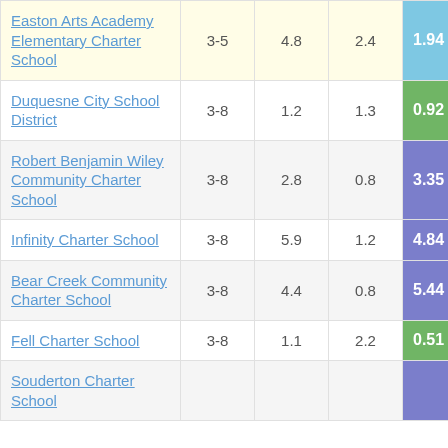| School | Grades | Col3 | Col4 | Score |
| --- | --- | --- | --- | --- |
| Easton Arts Academy Elementary Charter School | 3-5 | 4.8 | 2.4 | 1.94 |
| Duquesne City School District | 3-8 | 1.2 | 1.3 | 0.92 |
| Robert Benjamin Wiley Community Charter School | 3-8 | 2.8 | 0.8 | 3.35 |
| Infinity Charter School | 3-8 | 5.9 | 1.2 | 4.84 |
| Bear Creek Community Charter School | 3-8 | 4.4 | 0.8 | 5.44 |
| Fell Charter School | 3-8 | 1.1 | 2.2 | 0.51 |
| Souderton Charter School | 3-8 | ... | ... | ... |